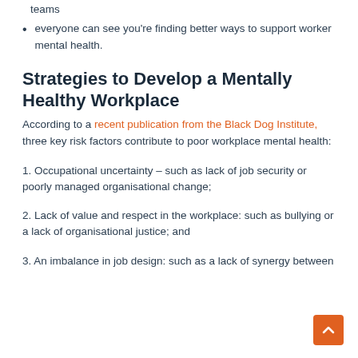teams
everyone can see you're finding better ways to support worker mental health.
Strategies to Develop a Mentally Healthy Workplace
According to a recent publication from the Black Dog Institute, three key risk factors contribute to poor workplace mental health:
1. Occupational uncertainty – such as lack of job security or poorly managed organisational change;
2. Lack of value and respect in the workplace: such as bullying or a lack of organisational justice; and
3. An imbalance in job design: such as a lack of synergy between